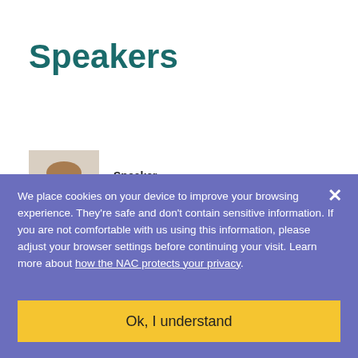Speakers
Speaker
Dr. Jennifer Atkinson
[Figure (photo): Portrait photo of Dr. Jennifer Atkinson, a woman with light brown hair]
We place cookies on your device to improve your browsing experience. They're safe and don't contain sensitive information. If you are not comfortable with us using this information, please adjust your browser settings before continuing your visit. Learn more about how the NAC protects your privacy.
Ok, I understand